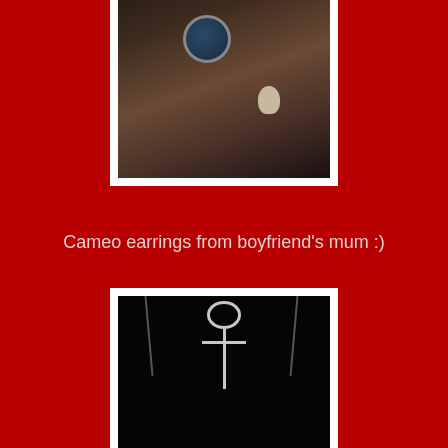[Figure (photo): Close-up photo of a person's ear wearing a cameo earring, dark background with skin tones visible]
Cameo earrings from boyfriend's mum :)
[Figure (photo): Dark photo showing an ankh cross pendant/charm on a chain against a black background]